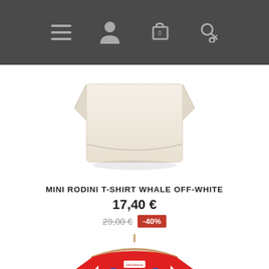[Figure (screenshot): Navigation bar with hamburger menu, user icon, cart icon with 0, and search icon on dark grey background]
[Figure (photo): Mini Rodini off-white whale t-shirt laid flat on white background]
MINI RODINI T-SHIRT WHALE OFF-WHITE
17,40 €
29,00 € -40%
[Figure (photo): Red t-shirt with blue spots on a wooden hanger, label visible on collar area]